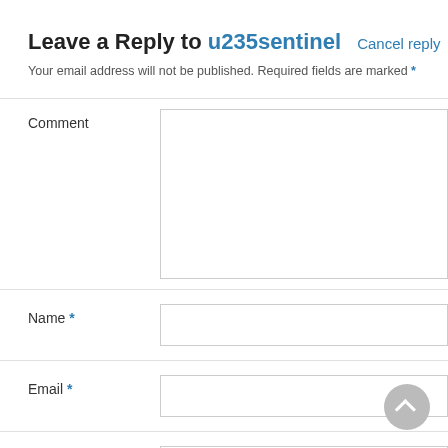Leave a Reply to u235sentinel Cancel reply
Your email address will not be published. Required fields are marked *
Comment
Name *
Email *
Website